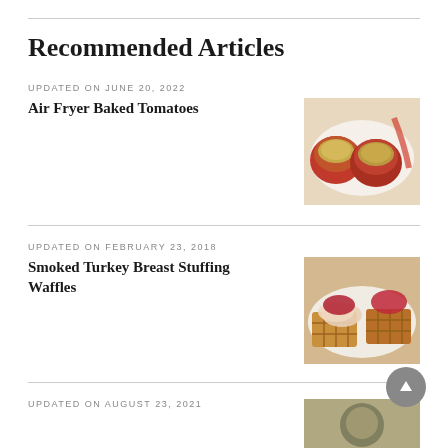Recommended Articles
UPDATED ON JUNE 20, 2022
Air Fryer Baked Tomatoes
[Figure (photo): Baked tomatoes with breadcrumb topping on a white plate]
UPDATED ON FEBRUARY 23, 2018
Smoked Turkey Breast Stuffing Waffles
[Figure (photo): Turkey breast slices with cranberry sauce on waffle pieces]
UPDATED ON AUGUST 23, 2021
[Figure (photo): Partially visible food photo at bottom of page]